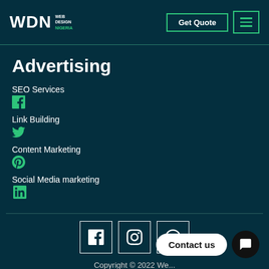WDN Web Design Nigeria | Get Quote | Menu
Advertising
SEO Services
Link Building
Content Marketing
Social Media marketing
[Figure (logo): Facebook, Instagram, WhatsApp social media icon boxes]
Copyright © 2022 We...
Contact us